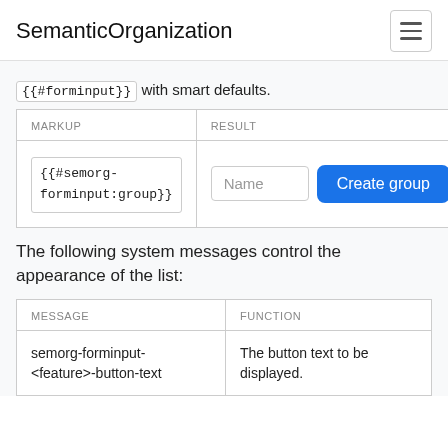SemanticOrganization
{{#forminput}} with smart defaults.
| MARKUP | RESULT |
| --- | --- |
| {{#semorg-
forminput:group}} | [Name input] [Create group button] |
The following system messages control the appearance of the list:
| MESSAGE | FUNCTION |
| --- | --- |
| semorg-forminput-<feature>-button-text | The button text to be displayed. |